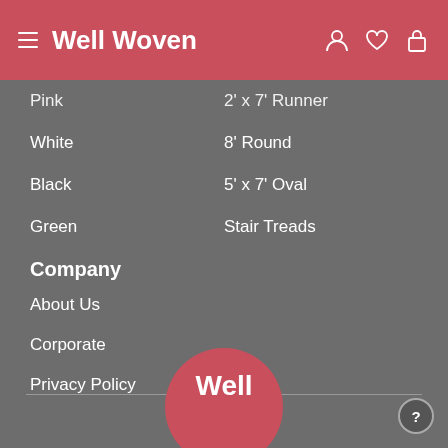Well Woven
Pink
2' x 7' Runner
White
8' Round
Black
5' x 7' Oval
Green
Stair Treads
Company
About Us
Corporate
Privacy Policy
[Figure (logo): Well Woven logo circle at bottom of page]